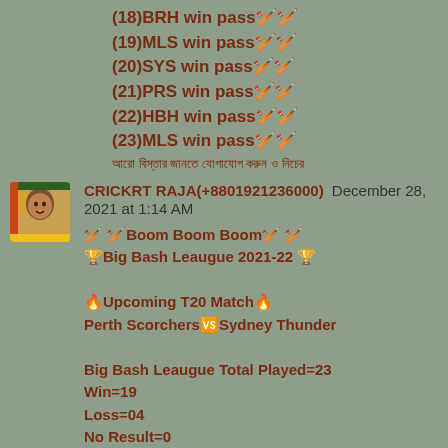(18)BRH win pass🏏🏏
(19)MLS win pass🏏🏏
(20)SYS win pass🏏🏏
(21)PRS win pass🏏🏏
(22)HBH win pass🏏🏏
(23)MLS win pass🏏🏏
আরো বিস্তার জানতে যোগাযোগ করুন ও নিচের
CRICKRT RAJA(+8801921236000) December 28, 2021 at 1:14 AM
🏏 🏏Boom Boom Boom🏏 🏏
🏆Big Bash Leaugue 2021-22 🏆

🔥Upcoming T20 Match🔥
Perth Scorchers🆚Sydney Thunder

Big Bash Leaugue Total Played=23
Win=19
Loss=04
No Result=0